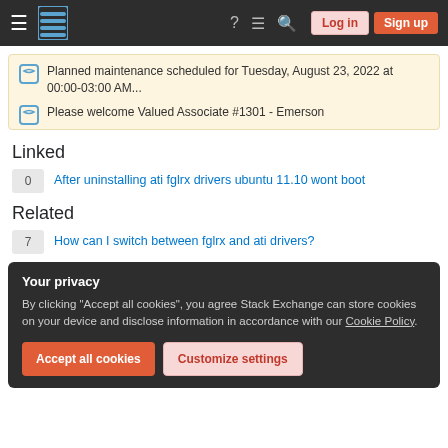Stack Exchange navigation bar with Log in and Sign up buttons
Planned maintenance scheduled for Tuesday, August 23, 2022 at 00:00-03:00 AM...
Please welcome Valued Associate #1301 - Emerson
Linked
0  After uninstalling ati fglrx drivers ubuntu 11.10 wont boot
Related
7  How can I switch between fglrx and ati drivers?
Your privacy
By clicking "Accept all cookies", you agree Stack Exchange can store cookies on your device and disclose information in accordance with our Cookie Policy.
Accept all cookies  Customize settings